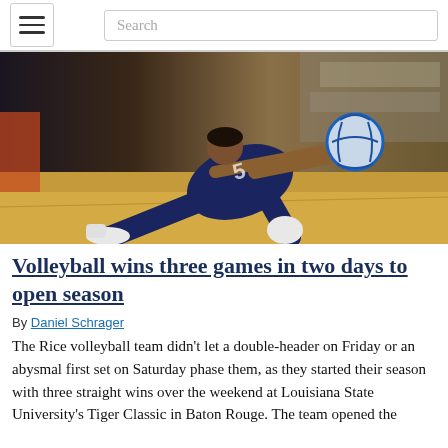Search
[Figure (photo): A volleyball player in a navy blue jersey numbered 5 diving low to pass a blue and white volleyball on a hardwood gym floor, with blurred spectators in the background.]
Volleyball wins three games in two days to open season
By Daniel Schrager
The Rice volleyball team didn't let a double-header on Friday or an abysmal first set on Saturday phase them, as they started their season with three straight wins over the weekend at Louisiana State University's Tiger Classic in Baton Rouge. The team opened the